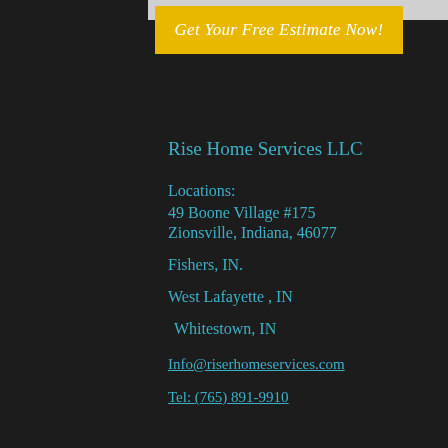Get Your Free Estimate Now!
Rise Home Services LLC
Locations:
49 Boone Village #175
Zionsville, Indiana,  46077
Fishers, IN.
West Lafayette , IN
Whitestown, IN
Info@riserhomeservices.com
Tel: (765) 891-9910